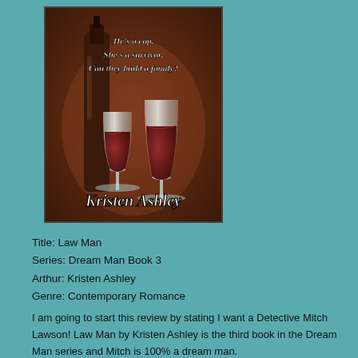[Figure (illustration): Book cover for 'Law Man' by Kristen Ashley showing wine glasses on a dark background with the tagline 'He's a cop. She's a survivor. Can they build a family?' and author name 'Kristen Ashley' at the bottom.]
Title: Law Man
Series: Dream Man Book 3
Arthur: Kristen Ashley
Genre: Contemporary Romance
I am going to start this review by stating I want a Detective Mitch Lawson! Law Man by Kristen Ashley is the third book in the Dream Man series and Mitch is 100% a dream man.
The luck lady in this book is Mara, who unfortunately was raised in the stereotypical trailer park. Mara was able to pull herself up to a new life in Denver where she is lucky to be the neighbor of Mitch Lawson. Along with being extremely shy, Mara has low